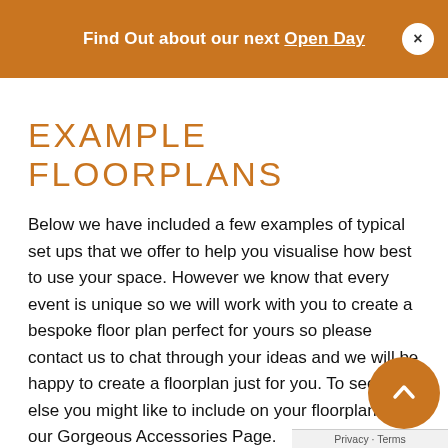Find Out about our next Open Day ×
EXAMPLE FLOORPLANS
Below we have included a few examples of typical set ups that we offer to help you visualise how best to use your space. However we know that every event is unique so we will work with you to create a bespoke floor plan perfect for yours so please contact us to chat through your ideas and we will be happy to create a floorplan just for you. To see what else you might like to include on your floorplans visit our Gorgeous Accessories Page.